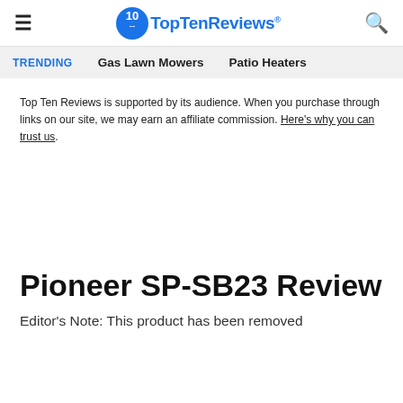TopTenReviews
TRENDING   Gas Lawn Mowers   Patio Heaters
Top Ten Reviews is supported by its audience. When you purchase through links on our site, we may earn an affiliate commission. Here's why you can trust us.
Pioneer SP-SB23 Review
Editor's Note: This product has been removed